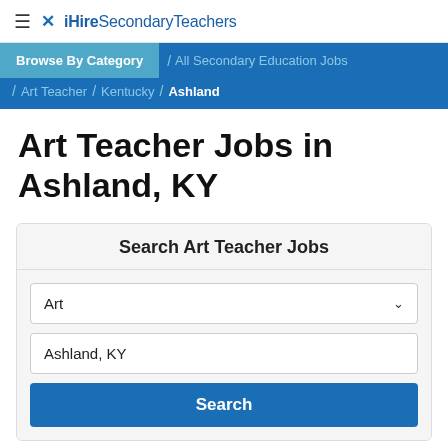≡ iHireSecondaryTeachers
Browse By Category / All Secondary Education Jobs / Art Teacher / Kentucky / Ashland
Art Teacher Jobs in Ashland, KY
Search Art Teacher Jobs
Art
Ashland, KY
Search